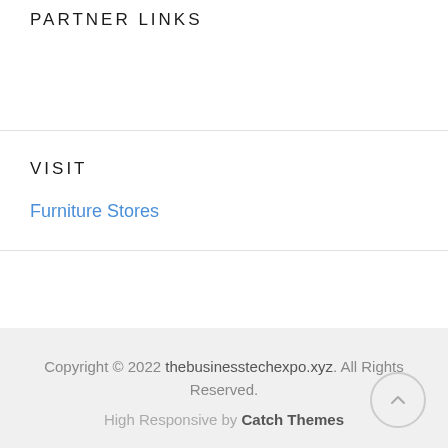PARTNER LINKS
VISIT
Furniture Stores
Copyright © 2022 thebusinesstechexpo.xyz. All Rights Reserved.
High Responsive by Catch Themes